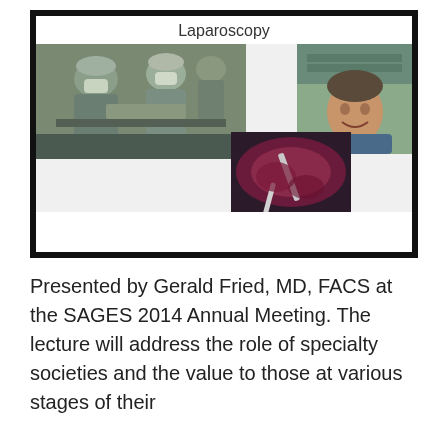[Figure (photo): Screenshot of a McGill University presentation slide titled 'Laparoscopy'. The slide contains three photos: a large photo of surgeons in scrubs performing a procedure, a portrait photo of a smiling man in surgical scrubs, and a laparoscopic internal view photo. A red McGill University banner with the McGill logo and name appears at the bottom of the slide.]
Presented by Gerald Fried, MD, FACS at the SAGES 2014 Annual Meeting. The lecture will address the role of specialty societies and the value to those at various stages of their